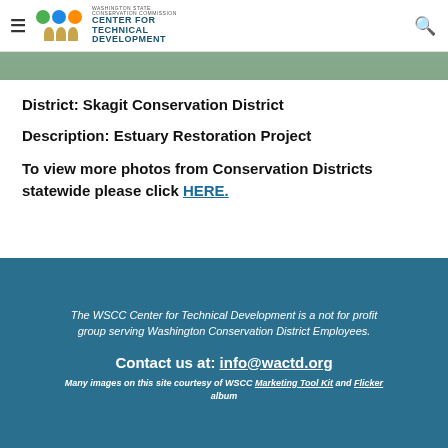Washington State Conservation Commission Center for Technical Development
[Figure (photo): Partial photo strip visible at top of content area]
District: Skagit Conservation District
Description: Estuary Restoration Project
To view more photos from Conservation Districts statewide please click HERE.
The WSCC Center for Technical Development is a not for profit group serving Washington Conservation District Employees. Contact us at: info@wactd.org Many images on this site courtesy of WSCC Marketing Tool Kit and Flicker album